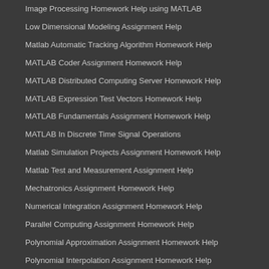Image Processing Homework Help using MATLAB
Low Dimensional Modeling Assignment Help
Matlab Automatic Tracking Algorithm Homework Help
MATLAB Coder Assignment Homework Help
MATLAB Distributed Computing Server Homework Help
MATLAB Expression Test Vectors Homework Help
MATLAB Fundamentals Assignment Homework Help
MATLAB In Discrete Time Signal Operations
Matlab Simulation Projects Assignment Homework Help
Matlab Test and Measurement Assignment Help
Mechatronics Assignment Homework Help
Numerical Integration Assignment Homework Help
Parallel Computing Assignment Homework Help
Polynomial Approximation Assignment Homework Help
Polynomial Interpolation Assignment Homework Help